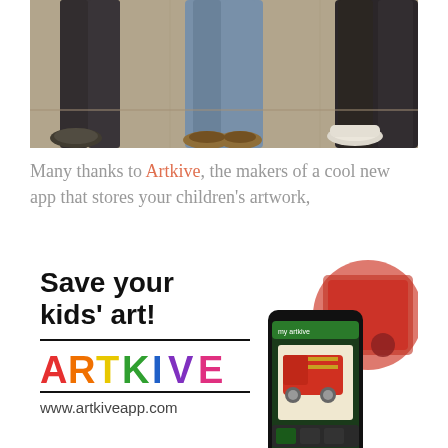[Figure (photo): Photo of three children standing, shown from waist down on a sidewalk/pavement, wearing jeans and sneakers]
Many thanks to Artkive, the makers of a cool new app that stores your children's artwork,
[Figure (infographic): Artkive app advertisement showing 'Save your kids' art!' text, ARTKIVE logo in colorful letters, www.artkiveapp.com URL, and a smartphone displaying children's artwork]